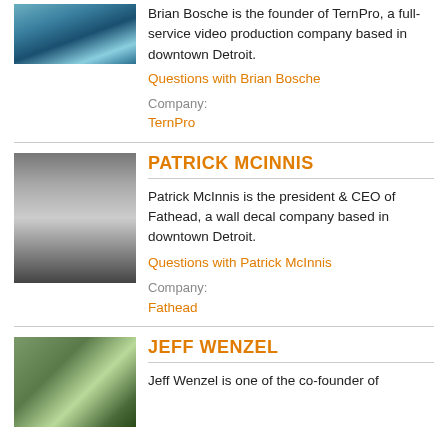[Figure (photo): Photo of Brian Bosche]
Brian Bosche is the founder of TernPro, a full-service video production company based in downtown Detroit.
Questions with Brian Bosche
Company:
TernPro
[Figure (photo): Photo of Patrick McInnis]
PATRICK MCINNIS
Patrick McInnis is the president & CEO of Fathead, a wall decal company based in downtown Detroit.
Questions with Patrick McInnis
Company:
Fathead
[Figure (photo): Photo of Jeff Wenzel]
JEFF WENZEL
Jeff Wenzel is one of the co-founder of